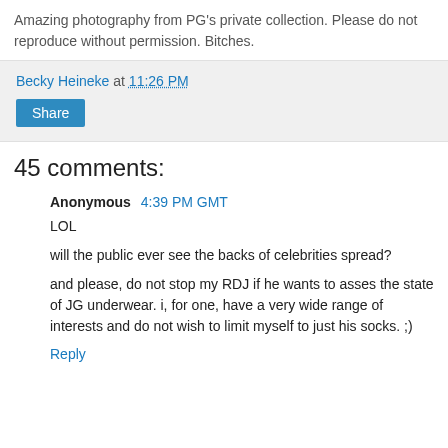Amazing photography from PG's private collection. Please do not reproduce without permission. Bitches.
Becky Heineke at 11:26 PM
Share
45 comments:
Anonymous 4:39 PM GMT
LOL
will the public ever see the backs of celebrities spread?
and please, do not stop my RDJ if he wants to asses the state of JG underwear. i, for one, have a very wide range of interests and do not wish to limit myself to just his socks. ;)
Reply